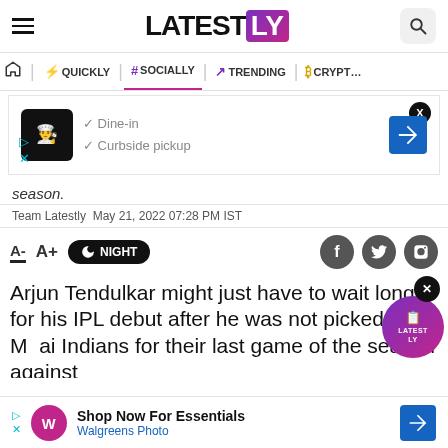LATESTLY
QUICKLY | # SOCIALLY | TRENDING | CRYPTO
[Figure (screenshot): Advertisement banner showing a restaurant listing with chef icon, Dine-in and Curbside pickup checkmarks, and a navigation arrow icon]
season.
Team Latestly May 21, 2022 07:28 PM IST
A- A+ NIGHT (font/night mode toolbar with social share icons for Facebook, Twitter, WhatsApp)
Arjun Tendulkar might just have to wait longer for his IPL debut after he was not picked by Mumbai Indians for their last game of the season against
[Figure (screenshot): Bottom advertisement for Walgreens Photo: Shop Now For Essentials with navigation arrow]